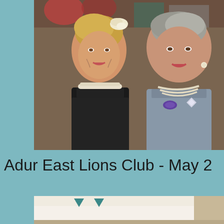[Figure (photo): Two people posing together at a formal event. The person on the left has blonde hair with a cream flower hair accessory and wears a black dress with a multi-strand pearl choker necklace. The person on the right has grey hair and wears a lavender/grey outfit with pearl necklaces and a large brooch with a purple stone pendant.]
Adur East Lions Club - May 2
[Figure (photo): Interior room photo showing what appears to be a decorated event space with triangular bunting/decorations visible on a white surface, beige/cream walls and ceiling.]